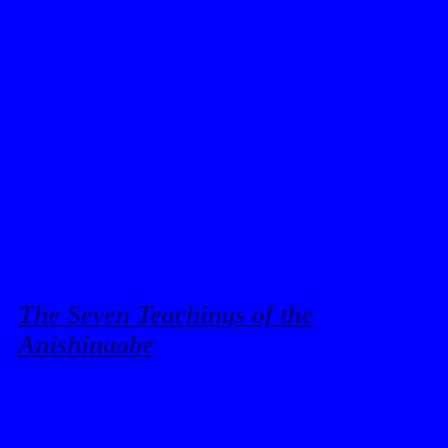The Seven Teachings of the Anishinaabe